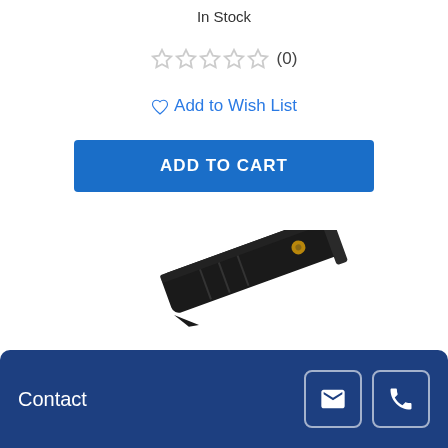In Stock
★★★★★ (0)
♡ Add to Wish List
ADD TO CART
[Figure (photo): A black folding tactical knife with gold accents, photographed at an angle against a white background.]
Contact [email icon] [phone icon]